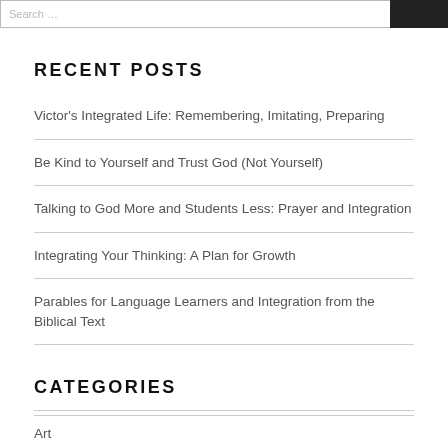RECENT POSTS
Victor's Integrated Life: Remembering, Imitating, Preparing
Be Kind to Yourself and Trust God (Not Yourself)
Talking to God More and Students Less: Prayer and Integration
Integrating Your Thinking: A Plan for Growth
Parables for Language Learners and Integration from the Biblical Text
CATEGORIES
Art